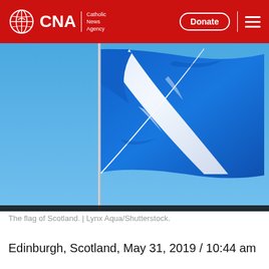CNA | Catholic News Agency — Donate
[Figure (photo): The flag of Scotland (Saltire / St Andrew's Cross) waving against a clear blue sky, mounted on a pole. The flag features a white diagonal cross on a vivid blue background. Photo credit: Lynx Aqua/Shutterstock.]
The flag of Scotland. | Lynx Aqua/Shutterstock.
Edinburgh, Scotland, May 31, 2019 / 10:44 am